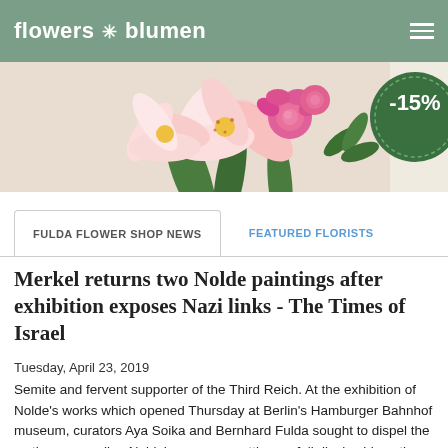flowers blumen
[Figure (photo): Banner image of pink and white lily and rose flower arrangement with a green circular discount badge showing -15%]
FULDA FLOWER SHOP NEWS | FEATURED FLORISTS
Merkel returns two Nolde paintings after exhibition exposes Nazi links - The Times of Israel
Tuesday, April 23, 2019
Semite and fervent supporter of the Third Reich. At the exhibition of Nolde’s works which opened Thursday at Berlin’s Hamburger Bahnhof museum, curators Aya Soika and Bernhard Fulda sought to dispel the myths surrounding Nolde’s persona, putting on full display his anti-Jewish views alongside his works. Fulda conceded that he was “slightly surprised” by Merkel’s decision to return the two paintings. “There is a way you can use the complex and difficult biographical question. Someone can try to still show great